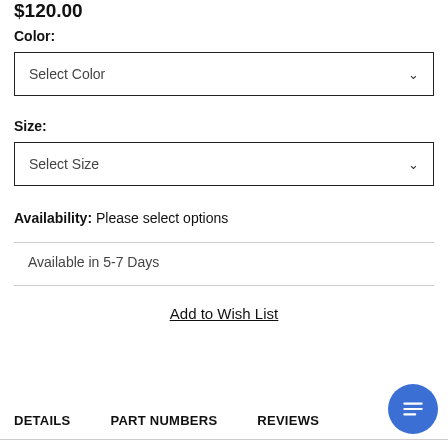$120.00
Color:
Select Color
Size:
Select Size
Availability: Please select options
Available in 5-7 Days
Add to Wish List
DETAILS   PART NUMBERS   REVIEWS